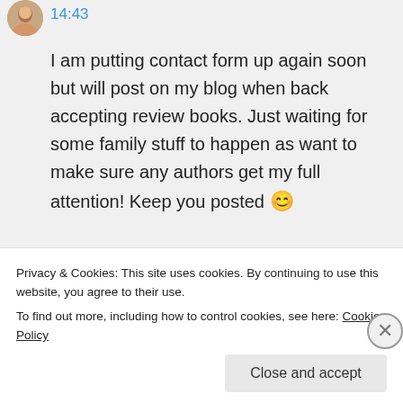14:43
I am putting contact form up again soon but will post on my blog when back accepting review books. Just waiting for some family stuff to happen as want to make sure any authors get my full attention! Keep you posted 😊
★ Liked by 1 person
Log in to Reply
Privacy & Cookies: This site uses cookies. By continuing to use this website, you agree to their use.
To find out more, including how to control cookies, see here: Cookie Policy